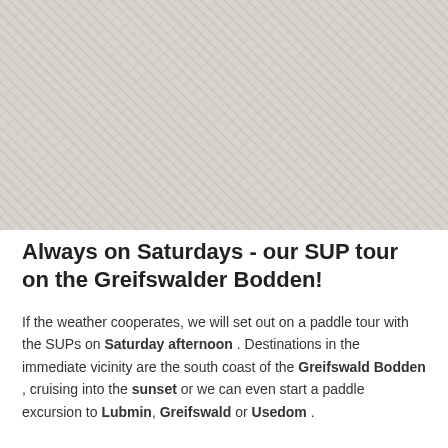[Figure (photo): Outdoor water/nature scene photograph, appearing washed out and light-toned, showing a coastal or water landscape.]
Always on Saturdays - our SUP tour on the Greifswalder Bodden!
If the weather cooperates, we will set out on a paddle tour with the SUPs on Saturday afternoon . Destinations in the immediate vicinity are the south coast of the Greifswald Bodden , cruising into the sunset or we can even start a paddle excursion to Lubmin, Greifswald or Usedom .